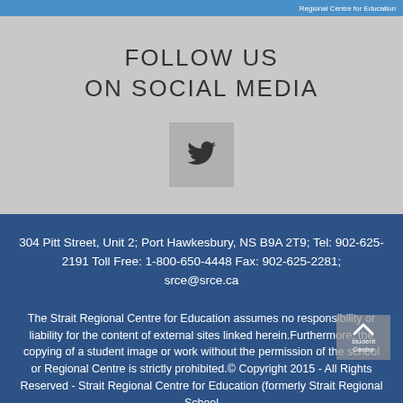Regional Centre for Education
FOLLOW US
ON SOCIAL MEDIA
[Figure (illustration): Twitter bird icon in a grey square button]
304 Pitt Street, Unit 2; Port Hawkesbury, NS B9A 2T9; Tel: 902-625-2191 Toll Free: 1-800-650-4448 Fax: 902-625-2281; srce@srce.ca
The Strait Regional Centre for Education assumes no responsibility or liability for the content of external sites linked herein.Furthermore, the copying of a student image or work without the permission of the school or Regional Centre is strictly prohibited.© Copyright 2015 - All Rights Reserved - Strait Regional Centre for Education (formerly Strait Regional School